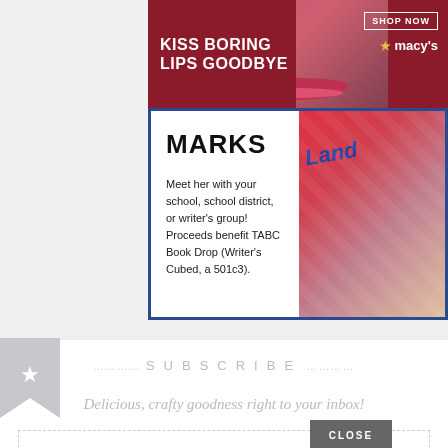[Figure (infographic): Macy's advertisement banner with dark red background, text 'KISS BORING LIPS GOODBYE' on left, woman's face with red lips in center, 'SHOP NOW' button and Macy's star logo on right]
[Figure (infographic): Book advertisement with blue border, white left panel showing 'MARKS' title and text 'Meet her with your school, school district, or writer's group! Proceeds benefit TABC Book Drop (Writer's Cubed, a 501c3).', right panel showing book cover image with 'Land' text]
[Figure (illustration): Gray bookmark ribbon icon with white star]
SUBSCRIBE
Delicious, crafty goodness right to your inbox!
E-MAIL ADDRESS
Go
CLOSE
[Figure (infographic): Seamless food delivery advertisement with pizza image on left, pink 'seamless' logo in center, 'ORDER NOW' button with white border on right, dark background]